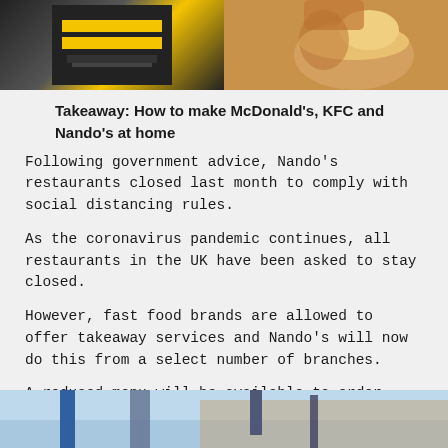[Figure (photo): Top image split: left side shows a dark surface with yellow stripes (possibly a McDonald's tray or signage), right side shows a hand holding a burger or fried chicken piece.]
Takeaway: How to make McDonald's, KFC and Nando's at home
Following government advice, Nando's restaurants closed last month to comply with social distancing rules.
As the coronavirus pandemic continues, all restaurants in the UK have been asked to stay closed.
However, fast food brands are allowed to offer takeaway services and Nando's will now do this from a select number of branches.
A reduced menu will be available to order from behind closed doors.
[Figure (photo): Bottom partial image showing the exterior of a building, partially cut off at the bottom of the page.]